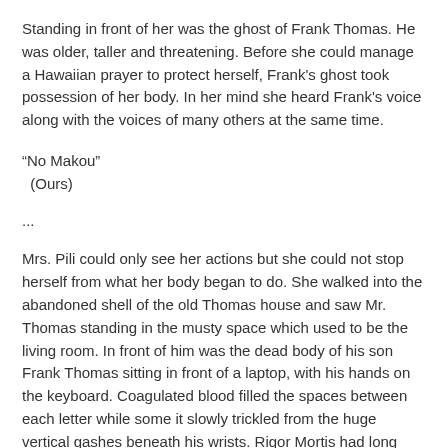Standing in front of her was the ghost of Frank Thomas. He was older, taller and threatening. Before she could manage a Hawaiian prayer to protect herself, Frank's ghost took possession of her body. In her mind she heard Frank's voice along with the voices of many others at the same time.
“No Makou”
  (Ours)
...
Mrs. Pili could only see her actions but she could not stop herself from what her body began to do. She walked into the abandoned shell of the old Thomas house and saw Mr. Thomas standing in the musty space which used to be the living room. In front of him was the dead body of his son Frank Thomas sitting in front of a laptop, with his hands on the keyboard. Coagulated blood filled the spaces between each letter while some it slowly trickled from the huge vertical gashes beneath his wrists. Rigor Mortis had long since set in and Mrs. Pili saw that Bob was having a hard time wresting the corpse of his son off of the old wooden